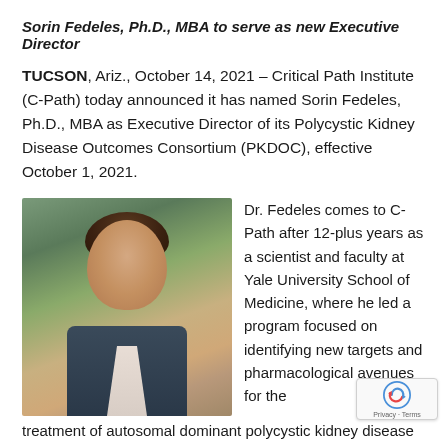Sorin Fedeles, Ph.D., MBA to serve as new Executive Director
TUCSON, Ariz., October 14, 2021 – Critical Path Institute (C-Path) today announced it has named Sorin Fedeles, Ph.D., MBA as Executive Director of its Polycystic Kidney Disease Outcomes Consortium (PKDOC), effective October 1, 2021.
[Figure (photo): Professional headshot of Sorin Fedeles, Ph.D., MBA — a man in a dark suit jacket with light-colored shirt, smiling, photographed outdoors with blurred green foliage background.]
Dr. Fedeles comes to C-Path after 12-plus years as a scientist and faculty at Yale University School of Medicine, where he led a program focused on identifying new targets and pharmacological avenues for the treatment of autosomal dominant polycystic kidney disease